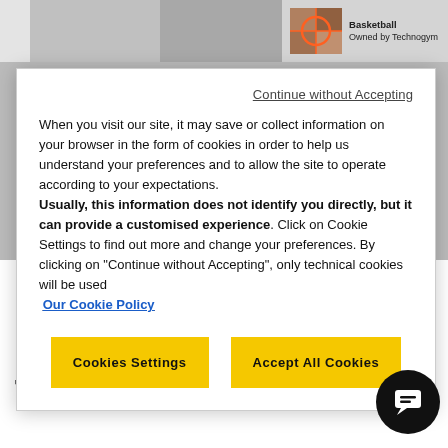Basketball Owned by Technogym
Continue without Accepting
When you visit our site, it may save or collect information on your browser in the form of cookies in order to help us understand your preferences and to allow the site to operate according to your expectations. Usually, this information does not identify you directly, but it can provide a customised experience. Click on Cookie Settings to find out more and change your preferences. By clicking on "Continue without Accepting", only technical cookies will be used
Our Cookie Policy
Cookies Settings
Accept All Cookies
CAN DIGITISATION DRIVE EFFICIENCY IN THE FITNESS FACILITY?